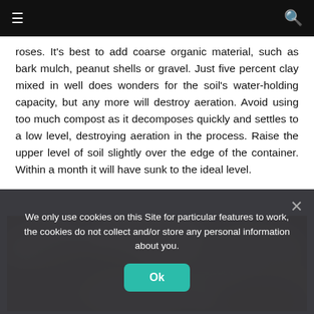☰ [hamburger menu] | [search icon]
roses. It's best to add coarse organic material, such as bark mulch, peanut shells or gravel. Just five percent clay mixed in well does wonders for the soil's water-holding capacity, but any more will destroy aeration. Avoid using too much compost as it decomposes quickly and settles to a low level, destroying aeration in the process. Raise the upper level of soil slightly over the edge of the container. Within a month it will have sunk to the ideal level.
[Figure (photo): Close-up blurred photo of pebbles or rocks, tan and beige tones]
We only use cookies on this Site for particular features to work, the cookies do not collect and/or store any personal information about you.